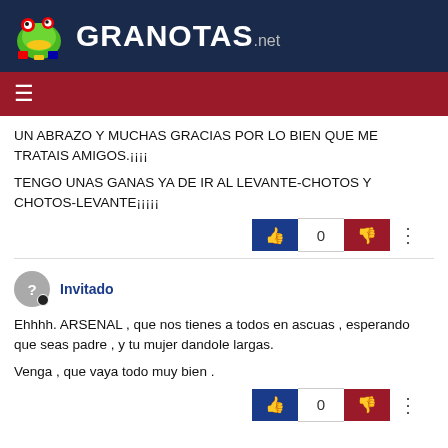GRANOTAS.net
UN ABRAZO Y MUCHAS GRACIAS POR LO BIEN QUE ME TRATAIS AMIGOS.¡¡¡¡
TENGO UNAS GANAS YA DE IR AL LEVANTE-CHOTOS Y CHOTOS-LEVANTE¡¡¡¡¡
Invitado
Ehhhh. ARSENAL , que nos tienes a todos en ascuas , esperando que seas padre , y tu mujer dandole largas.
Venga , que vaya todo muy bien .